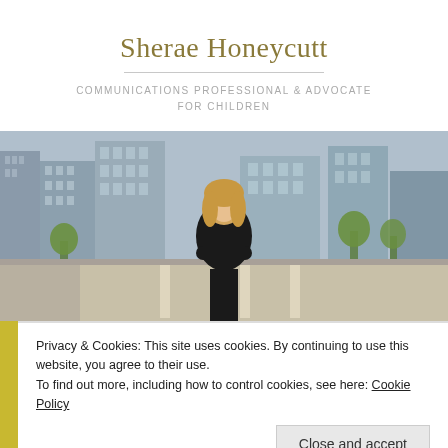Sherae Honeycutt
COMMUNICATIONS PROFESSIONAL & ADVOCATE FOR CHILDREN
[Figure (photo): Professional photo of Sherae Honeycutt, a blonde woman with arms crossed, smiling, standing on a bridge or overpass with a city skyline in the background]
Privacy & Cookies: This site uses cookies. By continuing to use this website, you agree to their use.
To find out more, including how to control cookies, see here: Cookie Policy
Close and accept